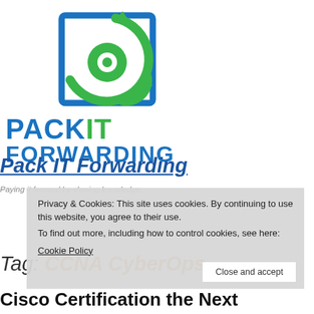[Figure (logo): Pack IT Forwarding logo with blue square frame and green circular arrow/eye graphic]
Pack IT Forwarding
Paying it forward by sharing knowledge.
Privacy & Cookies: This site uses cookies. By continuing to use this website, you agree to their use. To find out more, including how to control cookies, see here: Cookie Policy
Tag: CCNA CyberOps
Cisco Certification the Next